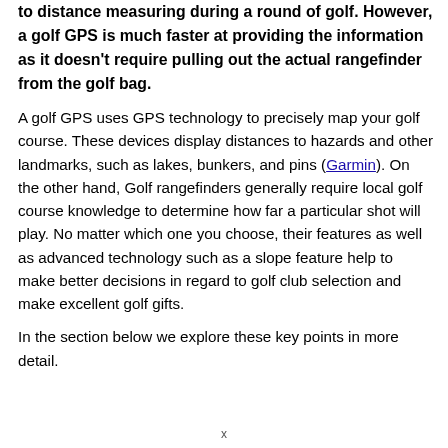to distance measuring during a round of golf. However, a golf GPS is much faster at providing the information as it doesn't require pulling out the actual rangefinder from the golf bag.
A golf GPS uses GPS technology to precisely map your golf course. These devices display distances to hazards and other landmarks, such as lakes, bunkers, and pins (Garmin). On the other hand, Golf rangefinders generally require local golf course knowledge to determine how far a particular shot will play. No matter which one you choose, their features as well as advanced technology such as a slope feature help to make better decisions in regard to golf club selection and make excellent golf gifts.
In the section below we explore these key points in more detail.
x